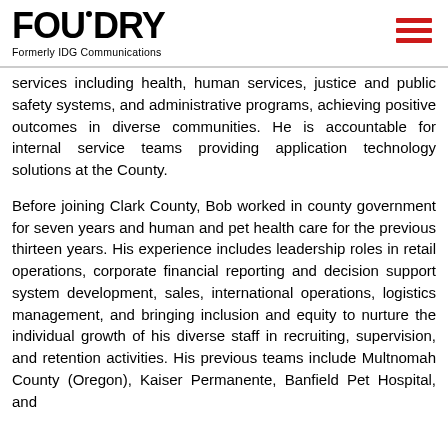FOUNDRY — Formerly IDG Communications
services including health, human services, justice and public safety systems, and administrative programs, achieving positive outcomes in diverse communities. He is accountable for internal service teams providing application technology solutions at the County.
Before joining Clark County, Bob worked in county government for seven years and human and pet health care for the previous thirteen years. His experience includes leadership roles in retail operations, corporate financial reporting and decision support system development, sales, international operations, logistics management, and bringing inclusion and equity to nurture the individual growth of his diverse staff in recruiting, supervision, and retention activities. His previous teams include Multnomah County (Oregon), Kaiser Permanente, Banfield Pet Hospital, and